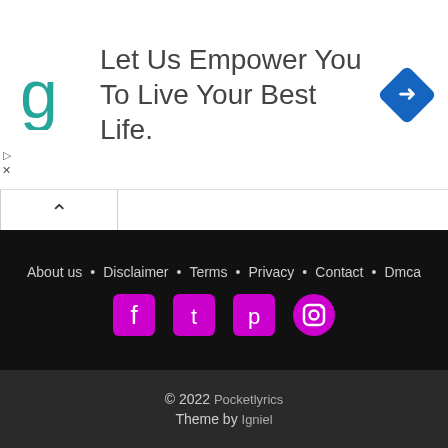[Figure (other): Advertisement banner: teal 'g' logo on left, text 'Let Us Empower You To Live Your Best Life.' in center, blue diamond navigation icon on right. Close/skip icons on far left.]
[Figure (other): Up-arrow collapse tab button]
He Washed Me White As Snow Lyrics
I Hear The Savior Say Lyrics
I Have The Honor To Be Your Obedient Servant Lyrics - Leslie Odom
About us • Disclaimer • Terms • Privacy • Contact • Dmca
© 2022 Pocketlyrics
Theme by Igniel